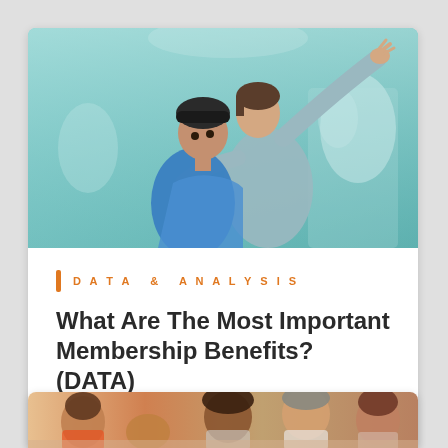[Figure (photo): A woman and a young girl in a museum, the woman pointing at an exhibit while the girl looks on with curiosity.]
DATA & ANALYSIS
What Are The Most Important Membership Benefits? (DATA)
Fundraising & Membership
[Figure (photo): A group of diverse people sitting around a table, smiling and engaged in conversation.]